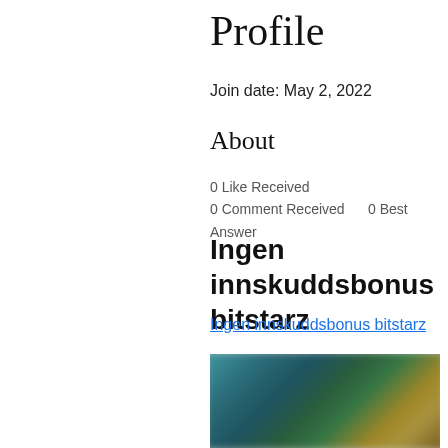Profile
Join date: May 2, 2022
About
0 Like Received
0 Comment Received    0 Best Answer
Ingen innskuddsbonus bitstarz
Ingen innskuddsbonus bitstarz
[Figure (photo): Blurred colorful image, appears to show people or characters with teal/green/yellow tones]